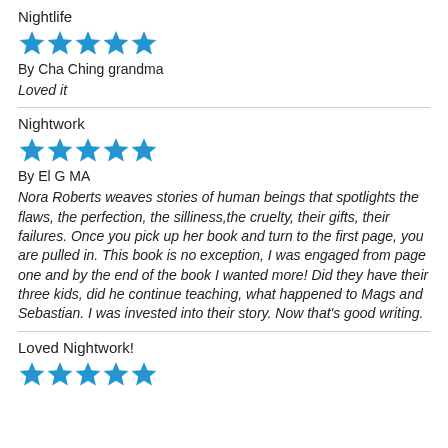Nightlife
[Figure (other): 5 blue stars rating]
By Cha Ching grandma
Loved it
Nightwork
[Figure (other): 5 blue stars rating]
By El G MA
Nora Roberts weaves stories of human beings that spotlights the flaws, the perfection, the silliness,the cruelty, their gifts, their failures. Once you pick up her book and turn to the first page, you are pulled in. This book is no exception, I was engaged from page one and by the end of the book I wanted more! Did they have their three kids, did he continue teaching, what happened to Mags and Sebastian. I was invested into their story. Now that's good writing.
Loved Nightwork!
[Figure (other): 5 blue stars rating]